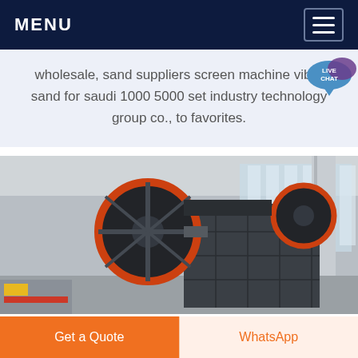MENU
wholesale, sand suppliers screen machine vibro sand for saudi 1000 5000 set industry technology group co., to favorites.
[Figure (photo): Industrial jaw crusher machine photographed inside a factory/warehouse setting. The machine has a large black flywheel with an orange rim and a ribbed crushing chamber. Steel structural columns and large windows are visible in the background.]
Get a Quote | WhatsApp